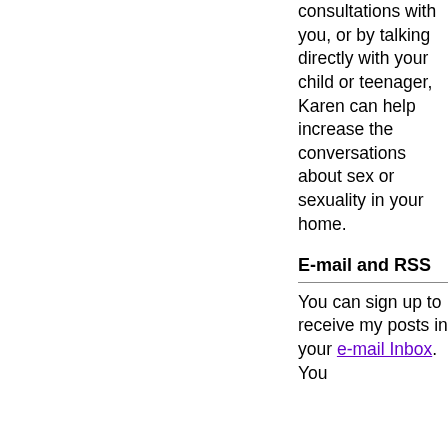consultations with you, or by talking directly with your child or teenager, Karen can help increase the conversations about sex or sexuality in your home.
E-mail and RSS
You can sign up to receive my posts in your e-mail Inbox. You